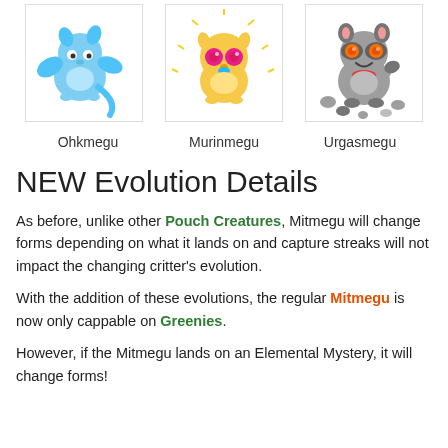[Figure (illustration): Three creature character illustrations in bordered boxes: Ohkmegu (blue dragon-like creature), Murinmegu (yellow creature with pink eyes), Urgasmegu (grey raccoon-like creature with rocks)]
Ohkmegu    Murinmegu    Urgasmegu
NEW Evolution Details
As before, unlike other Pouch Creatures, Mitmegu will change forms depending on what it lands on and capture streaks will not impact the changing critter's evolution.
With the addition of these evolutions, the regular Mitmegu is now only cappable on Greenies.
However, if the Mitmegu lands on an Elemental Mystery, it will change forms!